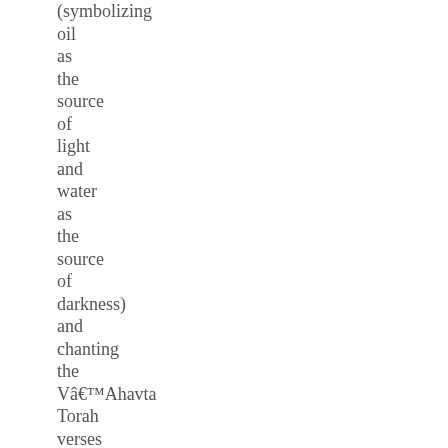(symbolizing oil as the source of light and water as the source of darkness) and chanting the Vâ€™Ahavta Torah verses that are part of